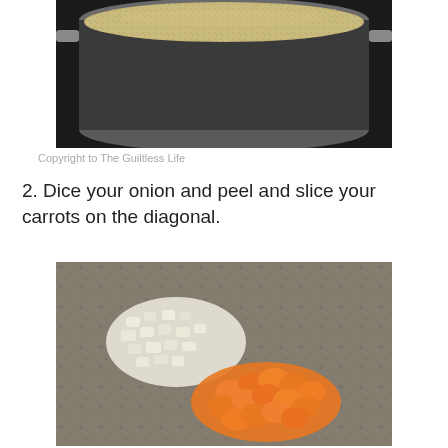[Figure (photo): A pot or pan on a stovetop filled with cooking quinoa or small grains, seen from above, with dark surroundings.]
Copyright to The Guiltless Life
2. Dice your onion and peel and slice your carrots on the diagonal.
[Figure (photo): Diced white onion and diagonal-sliced orange carrots on a granite countertop.]